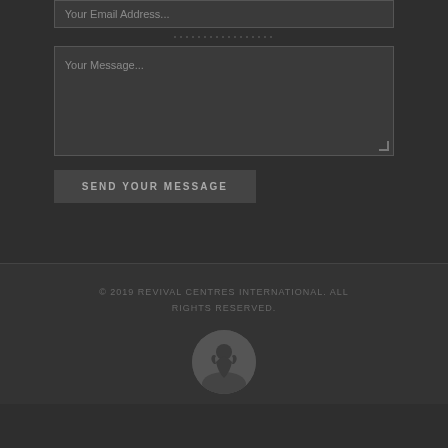Your Email Address...
Your Message...
SEND YOUR MESSAGE
© 2019 REVIVAL CENTRES INTERNATIONAL. ALL RIGHTS RESERVED.
[Figure (logo): Revival Centres International logo — circular emblem with a figure, dark grey on grey background]